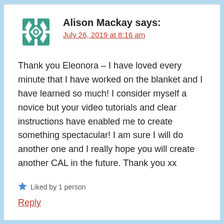[Figure (illustration): Green decorative snowflake/quilt-pattern avatar icon for commenter Alison Mackay]
Alison Mackay says:
July 26, 2019 at 8:16 am
Thank you Eleonora – I have loved every minute that I have worked on the blanket and I have learned so much! I consider myself a novice but your video tutorials and clear instructions have enabled me to create something spectacular! I am sure I will do another one and I really hope you will create another CAL in the future. Thank you xx
Liked by 1 person
Reply